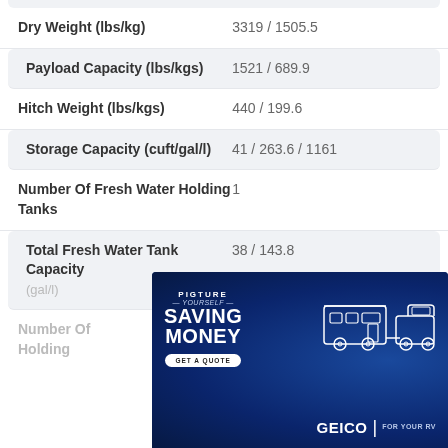| Specification | Value |
| --- | --- |
| Dry Weight (lbs/kg) | 3319 / 1505.5 |
| Payload Capacity (lbs/kgs) | 1521 / 689.9 |
| Hitch Weight (lbs/kgs) | 440 / 199.6 |
| Storage Capacity (cuft/gal/l) | 41 / 263.6 / 1161 |
| Number Of Fresh Water Holding Tanks | 1 |
| Total Fresh Water Tank Capacity (gal/l) | 38 / 143.8 |
| Number Of Grey Water Holding Tanks | (partially visible) |
[Figure (advertisement): GEICO insurance advertisement banner: 'Picture Yourself Saving Money' with illustration of RV and truck, GET A QUOTE button, GEICO FOR YOUR RV logo]